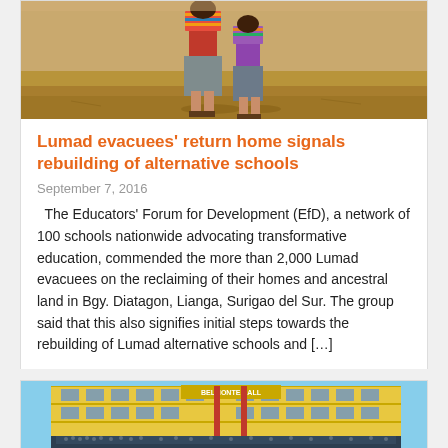[Figure (photo): People in traditional Lumad attire standing on sandy ground, viewed from behind/side]
Lumad evacuees’ return home signals rebuilding of alternative schools
September 7, 2016
The Educators’ Forum for Development (EfD), a network of 100 schools nationwide advocating transformative education, commended the more than 2,000 Lumad evacuees on the reclaiming of their homes and ancestral land in Bgy. Diatagon, Lianga, Surigao del Sur. The group said that this also signifies initial steps towards the rebuilding of Lumad alternative schools and […]
[Figure (photo): Large yellow school building (Belmonte Hall) with crowds of students in uniforms gathered in front]